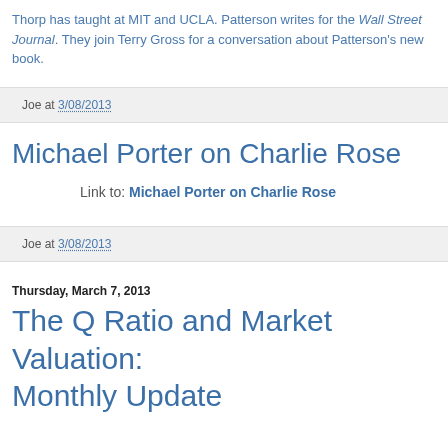Thorp has taught at MIT and UCLA. Patterson writes for the Wall Street Journal. They join Terry Gross for a conversation about Patterson's new book.
Joe at 3/08/2013
Michael Porter on Charlie Rose
Link to: Michael Porter on Charlie Rose
Joe at 3/08/2013
Thursday, March 7, 2013
The Q Ratio and Market Valuation: Monthly Update